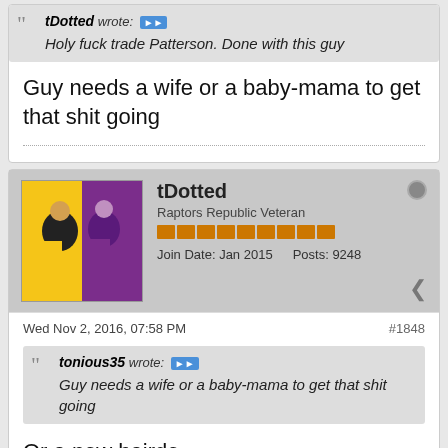tDotted wrote: Holy fuck trade Patterson. Done with this guy
Guy needs a wife or a baby-mama to get that shit going
tDotted — Raptors Republic Veteran — Join Date: Jan 2015  Posts: 9248
Wed Nov 2, 2016, 07:58 PM  #1848
tonious35 wrote: Guy needs a wife or a baby-mama to get that shit going
Or a new hairdo
tonious35 (partial, bottom)